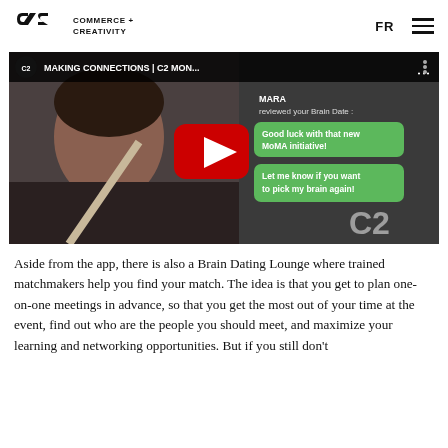C2 COMMERCE + CREATIVITY | FR | menu
[Figure (screenshot): YouTube video thumbnail showing a woman in a car looking at her phone, with a YouTube play button overlay, chat bubbles reading 'Good luck with that new MoMA initiative!' and 'Let me know if you want to pick my brain again!', and the title bar reading 'MAKING CONNECTIONS | C2 MON...' with MARA reviewed your Brain Date. C2 watermark in bottom right.]
Aside from the app, there is also a Brain Dating Lounge where trained matchmakers help you find your match. The idea is that you get to plan one-on-one meetings in advance, so that you get the most out of your time at the event, find out who are the people you should meet, and maximize your learning and networking opportunities. But if you still don't